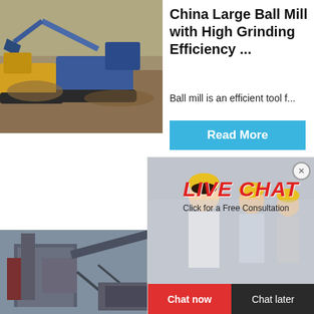[Figure (photo): Excavator and large blue crushing/mining machinery on construction site with dirt mounds]
China Large Ball Mill with High Grinding Efficiency ...
Ball mill is an efficient tool f...
Read More
[Figure (photo): Live chat popup overlay showing construction workers in yellow helmets with LIVE CHAT text in red italic, Click for a Free Consultation, Chat now and Chat later buttons, and a crusher machine image on the right side with Click me to chat>> button]
[Figure (photo): Industrial crushing/screening plant structure with steel framework and conveyors]
Wet Gr... with La...
wet grind...
Read
Enquiry
limingjlmofen